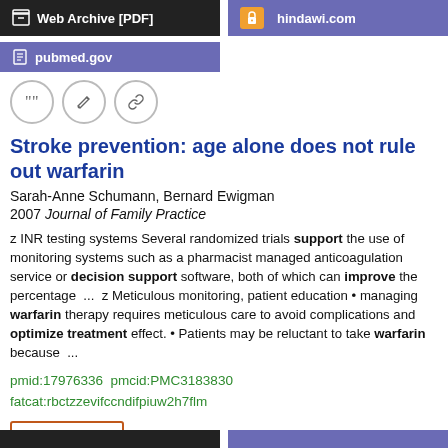[Figure (screenshot): Web Archive [PDF] navigation bar button (dark background)]
[Figure (screenshot): hindawi.com navigation bar button (purple background with orange lock icon)]
[Figure (screenshot): pubmed.gov navigation bar button (purple background)]
[Figure (screenshot): Three circular icon buttons: quote, edit, link]
Stroke prevention: age alone does not rule out warfarin
Sarah-Anne Schumann, Bernard Ewigman
2007 Journal of Family Practice
z INR testing systems Several randomized trials support the use of monitoring systems such as a pharmacist managed anticoagulation service or decision support software, both of which can improve the percentage  ...  z Meticulous monitoring, patient education • managing warfarin therapy requires meticulous care to avoid complications and optimize treatment effect. • Patients may be reluctant to take warfarin because  ...
pmid:17976336  pmcid:PMC3183830
fatcat:rbctzzevifccndifpiuw2h7flm
Open Access